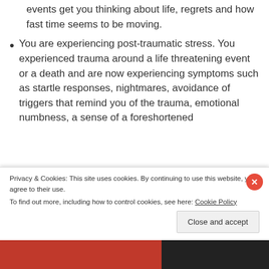events get you thinking about life, regrets and how fast time seems to be moving.
You are experiencing post-traumatic stress. You experienced trauma around a life threatening event or a death and are now experiencing symptoms such as startle responses, nightmares, avoidance of triggers that remind you of the trauma, emotional numbness, a sense of a foreshortened
Privacy & Cookies: This site uses cookies. By continuing to use this website, you agree to their use.
To find out more, including how to control cookies, see here: Cookie Policy
Close and accept